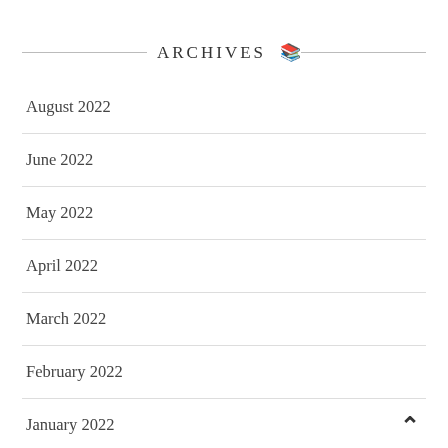ARCHIVES 📚
August 2022
June 2022
May 2022
April 2022
March 2022
February 2022
January 2022
December 2021